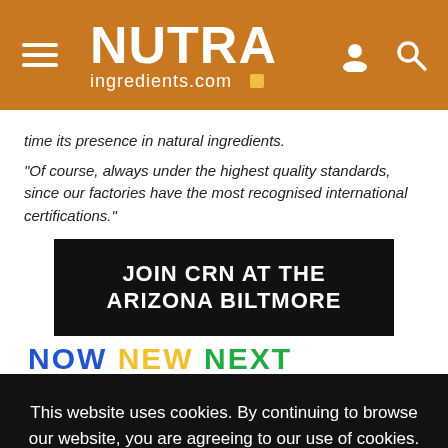NUTRAingredients.com
time its presence in natural ingredients.
“Of course, always under the highest quality standards, since our factories have the most recognised international certifications.”
[Figure (other): Advertisement banner: JOIN CRN AT THE ARIZONA BILTMORE on black background]
[Figure (other): Partial text NOW NEW NEXT in blue, yellow, green]
This website uses cookies. By continuing to browse our website, you are agreeing to our use of cookies. You can learn more about cookies by visiting our privacy & cookies policy page.
I Agree